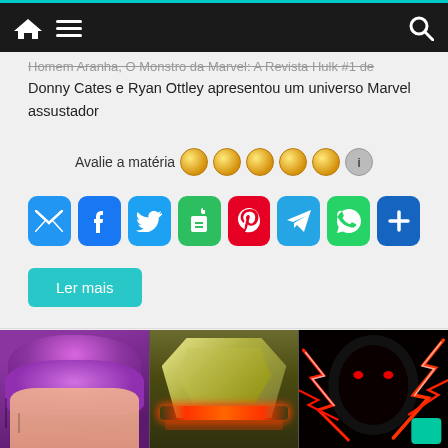Navigation bar with home, menu, and search icons
Homem Aranha, O Monstro da Marvel: A Revista Hulk #1 de Donny Cates e Ryan Ottley apresentou um universo Marvel assustador
Avalie a matéria
[Figure (infographic): Social sharing buttons: Email, Facebook, Twitter, Evernote, Pinterest, Telegram, WhatsApp, More]
Ler mais
[Figure (photo): Three comic book panels side by side: purple-toned character face on left, yellow/gold armored figure in center with red glow, dark creature with red lightning on right]